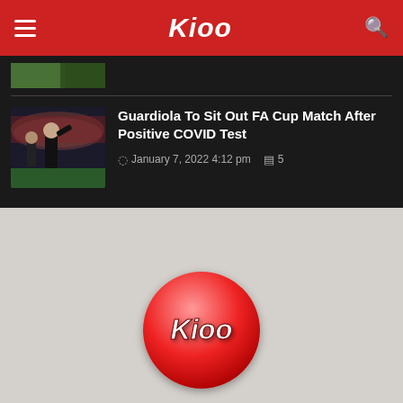Kioo
[Figure (screenshot): Thumbnail image of a soccer coach gesturing on the sideline in a stadium]
Guardiola To Sit Out FA Cup Match After Positive COVID Test
January 7, 2022 4:12 pm  5
[Figure (logo): Round red Kioo logo with white italic text]
Are you a Kenyan with a story to tell? Do you know someone of Kenyan origin doing something remarkable? Do you have an opinion